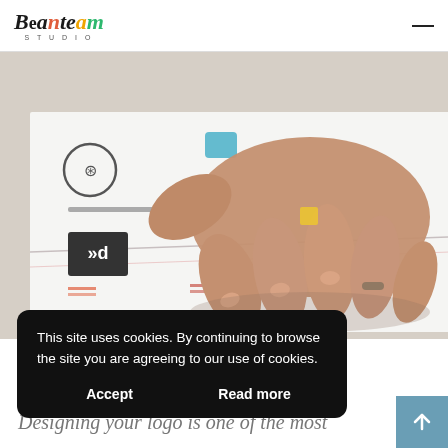Beanteam Studio
[Figure (photo): Close-up photo of a hand pointing at or reviewing logo design sheets on a white surface. Various logo sketches/mockups visible including circular icons, text elements, and a dark square logo.]
This site uses cookies. By continuing to browse the site you are agreeing to our use of cookies.
Accept    Read more
Designing your logo is one of the most